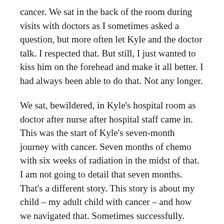cancer. We sat in the back of the room during visits with doctors as I sometimes asked a question, but more often let Kyle and the doctor talk. I respected that. But still, I just wanted to kiss him on the forehead and make it all better. I had always been able to do that. Not any longer.
We sat, bewildered, in Kyle's hospital room as doctor after nurse after hospital staff came in. This was the start of Kyle's seven-month journey with cancer. Seven months of chemo with six weeks of radiation in the midst of that. I am not going to detail that seven months. That's a different story. This story is about my child – my adult child with cancer – and how we navigated that. Sometimes successfully. Sometimes not so much.
Since Kyle was in the pediatric ward, there was a pull-out bed in his room. All the parents slept with their kids. I for one also did. There was both a...